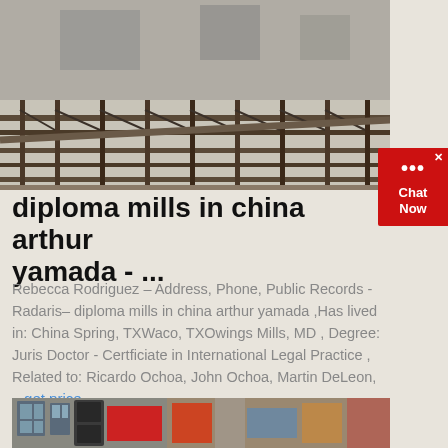[Figure (photo): Industrial steel structure/scaffolding construction site photo, overhead metal frameworks against a cloudy sky]
diploma mills in china arthur yamada - ...
Rebecca Rodriguez – Address, Phone, Public Records - Radaris– diploma mills in china arthur yamada ,Has lived in: China Spring, TXWaco, TXOwings Mills, MD , Degree: Juris Doctor - Certficiate in International Legal Practice , Related to: Ricardo Ochoa, John Ochoa, Martin DeLeon, ...get price
[Figure (photo): Interior industrial or commercial building with large speakers/sound equipment and colorful graffiti or murals visible]